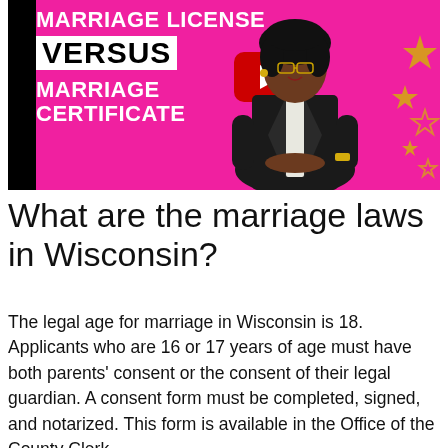[Figure (screenshot): YouTube video thumbnail with pink background showing a woman in a black blazer. Text reads 'MARRIAGE LICENSE VERSUS MARRIAGE CERTIFICATE' with a red YouTube play button.]
What are the marriage laws in Wisconsin?
The legal age for marriage in Wisconsin is 18. Applicants who are 16 or 17 years of age must have both parents' consent or the consent of their legal guardian. A consent form must be completed, signed, and notarized. This form is available in the Office of the County Clerk.